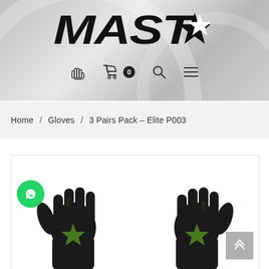[Figure (logo): MAST star logo in bold black stylized text with a star replacing the last letter]
[Figure (infographic): Navigation bar with hand/glove icon, shopping cart icon with badge 0, search icon, and hamburger menu icon]
Home / Gloves / 3 Pairs Pack - Elite P003
[Figure (photo): Two black goalkeeper gloves displayed side by side on white background, showing MAST branding and green star logo on palm]